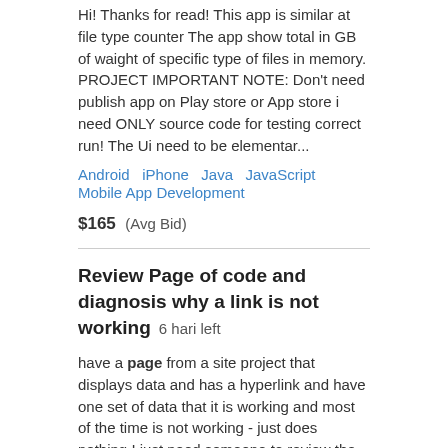Hi! Thanks for read! This app is similar at file type counter The app show total in GB of waight of specific type of files in memory. PROJECT IMPORTANT NOTE: Don't need publish app on Play store or App store i need ONLY source code for testing correct run! The Ui need to be elementar...
Android   iPhone   Java   JavaScript   Mobile App Development
$165  (Avg Bid)
Review Page of code and diagnosis why a link is not working  6 hari left
have a page from a site project that displays data and has a hyperlink and have one set of data that it is working and most of the time is not working - just does nothing I just need someone to review the code and determine why this is happening and fix to make it work This is in ASP Classi...
ASP   HTML   Reka Bentuk Laman Web